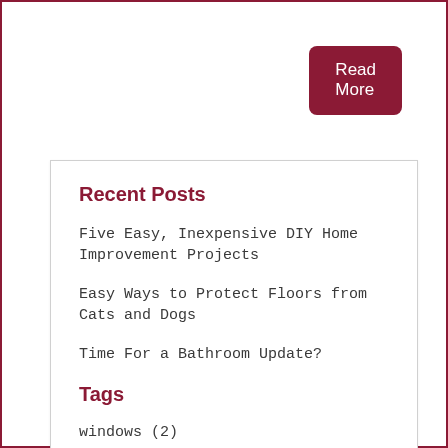Read More
Recent Posts
Five Easy, Inexpensive DIY Home Improvement Projects
Easy Ways to Protect Floors from Cats and Dogs
Time For a Bathroom Update?
Tags
windows (2)
weatherizing (2)